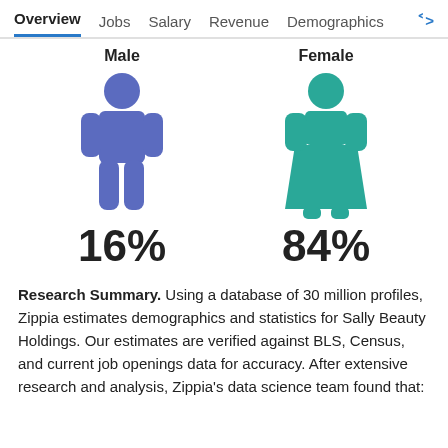Overview  Jobs  Salary  Revenue  Demographics
[Figure (infographic): Two gender icons side by side: a blue male figure labeled 'Male' with 16%, and a teal female figure labeled 'Female' with 84%]
Research Summary. Using a database of 30 million profiles, Zippia estimates demographics and statistics for Sally Beauty Holdings. Our estimates are verified against BLS, Census, and current job openings data for accuracy. After extensive research and analysis, Zippia's data science team found that: